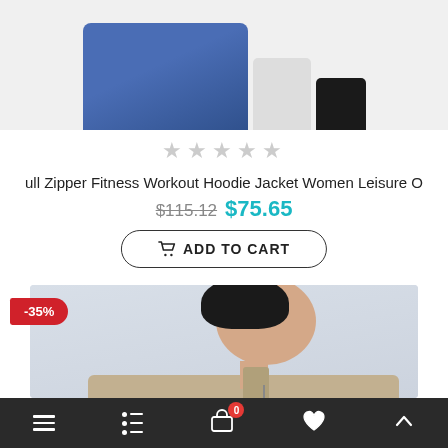[Figure (photo): Product image showing blue, white, and black fitness hoodie jackets at the top of the page]
★ ★ ★ ★ ★ (empty stars rating)
ull Zipper Fitness Workout Hoodie Jacket Women Leisure O
$115.12 $75.65
ADD TO CART
[Figure (photo): Product photo of a female model wearing a khaki/beige zip-up fitness jacket, side angle, with a -35% discount badge]
[Figure (other): Bottom navigation bar with hamburger menu, filter icon, shopping cart with badge showing 0, heart/wishlist icon, and up arrow icon]